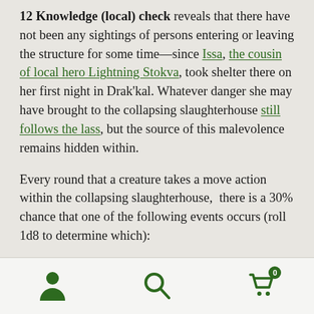12 Knowledge (local) check reveals that there have not been any sightings of persons entering or leaving the structure for some time—since Issa, the cousin of local hero Lightning Stokva, took shelter there on her first night in Drak'kal. Whatever danger she may have brought to the collapsing slaughterhouse still follows the lass, but the source of this malevolence remains hidden within.
Every round that a creature takes a move action within the collapsing slaughterhouse,  there is a 30% chance that one of the following events occurs (roll 1d8 to determine which):
Navigation bar with user, search, and cart (0) icons